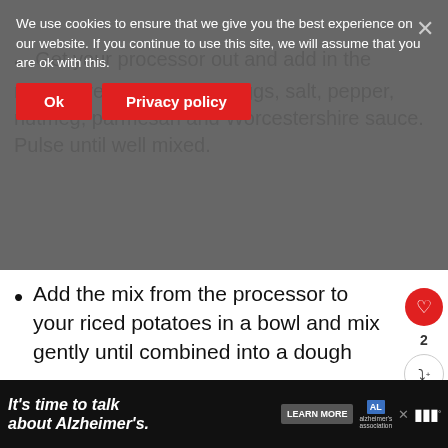Get your processor out and add in the roasted red pepper mix, eggs, salt, pepper, nutmeg, parmesan and Worcestershire sauce. Pulse until well mixed.
We use cookies to ensure that we give you the best experience on our website. If you continue to use this site, we will assume that you are ok with this.
Add the mix from the processor to your riced potatoes in a bowl and mix gently until combined into a dough
[Figure (photo): A mound of orange-tinted potato dough on a surface]
WHAT'S NEXT → How To Make Cheap...
It's time to talk about Alzheimer's. LEARN MORE